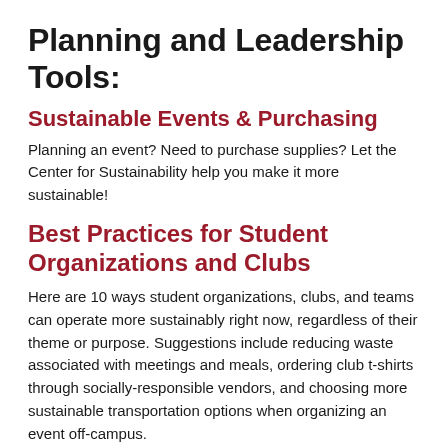Planning and Leadership Tools:
Sustainable Events & Purchasing
Planning an event? Need to purchase supplies? Let the Center for Sustainability help you make it more sustainable!
Best Practices for Student Organizations and Clubs
Here are 10 ways student organizations, clubs, and teams can operate more sustainably right now, regardless of their theme or purpose. Suggestions include reducing waste associated with meetings and meals, ordering club t-shirts through socially-responsible vendors, and choosing more sustainable transportation options when organizing an event off-campus.